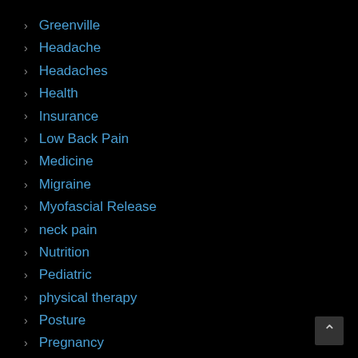Greenville
Headache
Headaches
Health
Insurance
Low Back Pain
Medicine
Migraine
Myofascial Release
neck pain
Nutrition
Pediatric
physical therapy
Posture
Pregnancy